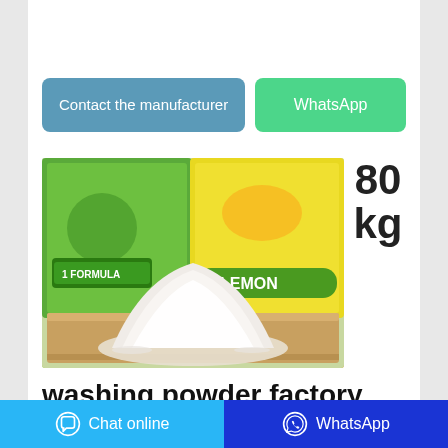Contact the manufacturer
WhatsApp
[Figure (photo): A pile of white washing powder on a wooden tray, with green and yellow detergent packaging bags in the background (Lemon brand)]
80 kg
washing powder factory shop johannesburg
Chat online   WhatsApp